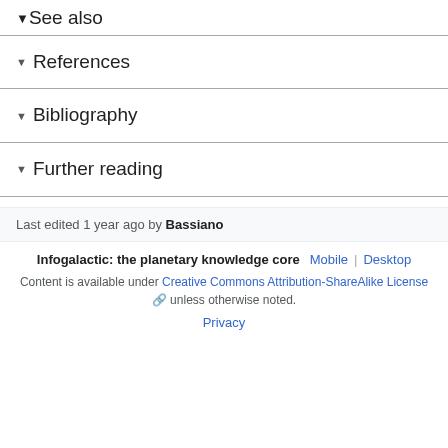See also
References
Bibliography
Further reading
Last edited 1 year ago by Bassiano
Infogalactic: the planetary knowledge core  Mobile  Desktop
Content is available under Creative Commons Attribution-ShareAlike License unless otherwise noted.
Privacy